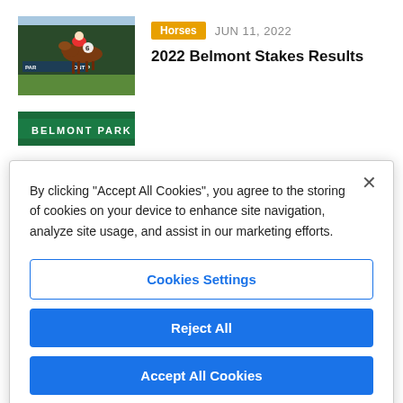[Figure (photo): Horse racing photo showing a jockey riding a horse at Belmont Park, with 'BELMONT PARK' text visible in the background]
2022 Belmont Stakes Results
Horses  JUN 11, 2022
[Figure (photo): Second article image showing green BELMONT PARK banner/sign]
By clicking “Accept All Cookies”, you agree to the storing of cookies on your device to enhance site navigation, analyze site usage, and assist in our marketing efforts.
Cookies Settings
Reject All
Accept All Cookies